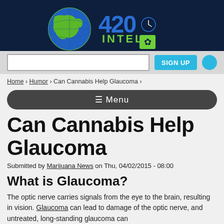[Figure (logo): 420 Intel logo with globe graphic on dark navy background]
Home › Humor › Can Cannabis Help Glaucoma ›
☰ Menu
Can Cannabis Help Glaucoma
Submitted by Marijuana News on Thu, 04/02/2015 - 08:00
What is Glaucoma?
The optic nerve carries signals from the eye to the brain, resulting in vision. Glaucoma can lead to damage of the optic nerve, and untreated, long-standing glaucoma can